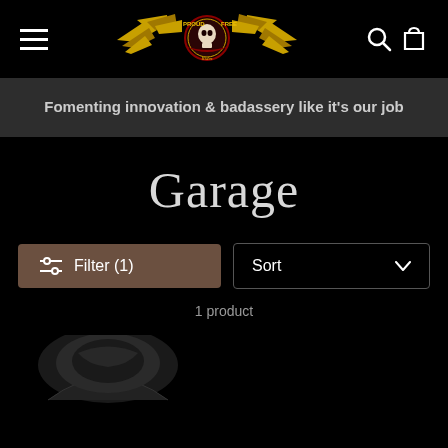[Figure (logo): Proud & Free Rides logo with golden wings and skull emblem]
Fomenting innovation & badassery like it's our job
Garage
Filter (1)
Sort
1 product
[Figure (photo): Partial product thumbnail showing a dark hooded garment]